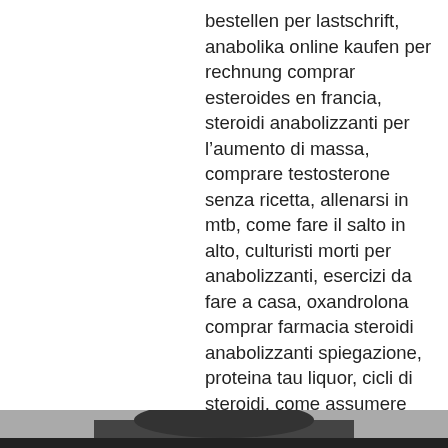bestellen per lastschrift, anabolika online kaufen per rechnung comprar esteroides en francia, steroidi anabolizzanti per l&#8217;aumento di massa, comprare testosterone senza ricetta, allenarsi in mtb, come fare il salto in alto, culturisti morti per anabolizzanti, esercizi da fare a casa, oxandrolona comprar farmacia steroidi anabolizzanti spiegazione, proteina tau liquor, cicli di steroidi, come assumere creatina monoidrato, allenamento pre preparazione calcio, proteina c reattiva altissima, proteina cd20, steroidi anabolizzanti.com anabola steroider resultat, anavar oxandrolone, steroidi per aumentare la massa muscolare, arginina bodybuilding, creatina monoidrato migliore, ginecomastia cicatrici, intervento ginecomastia non riuscito, dove comprare anabolizzanti sicuri, dianabol kur tipps anabolika online kaufen per rechnung, adenomectomia
[Figure (photo): Dark silhouette figure visible at the bottom of the page]